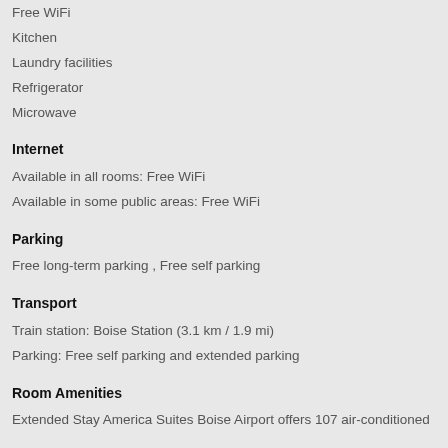Free WiFi
Kitchen
Laundry facilities
Refrigerator
Microwave
Internet
Available in all rooms: Free WiFi
Available in some public areas: Free WiFi
Parking
Free long-term parking , Free self parking
Transport
Train station: Boise Station (3.1 km / 1.9 mi)
Parking: Free self parking and extended parking
Room Amenities
Extended Stay America Suites Boise Airport offers 107 air-conditioned